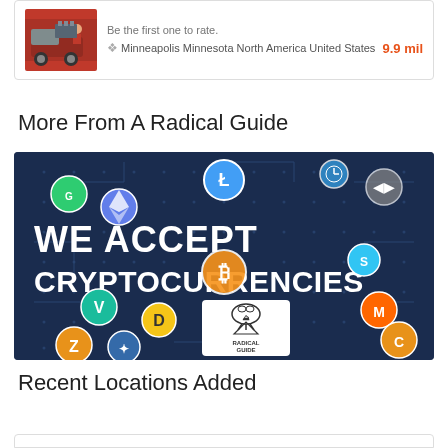Be the first one to rate.
Minneapolis Minnesota North America United States   9.9 mil
More From A Radical Guide
[Figure (illustration): Dark blue circuit board background with various cryptocurrency logos (Litecoin, Ethereum, Bitcoin, Ripple, Monero, etc.) connected by lines. Large white bold text reads 'WE ACCEPT CRYPTOCURRENCIES'. A white box with a Radical Guide logo (cow skull with mountains icon) is shown in the lower center.]
Recent Locations Added